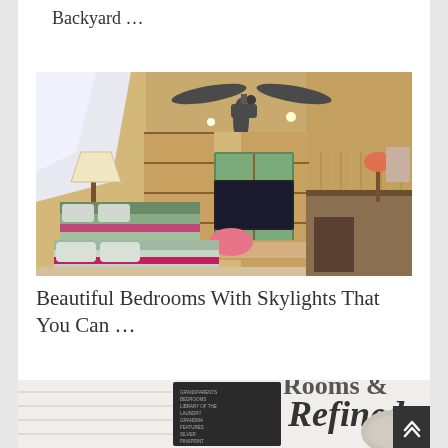Backyard …
[Figure (photo): Interior photo of an attic bedroom with skylights, a ceiling fan, two beds with blue and pink/magenta quilts, built-in wooden shelving, a flat-screen TV, and a desk area on the right side.]
Beautiful Bedrooms With Skylights That You Can …
[Figure (photo): Partially visible image showing a dark chalkboard-style sign with text and bold italic text reading 'Refined' on the right side, along with white shiplap wall and a decorative pillow.]